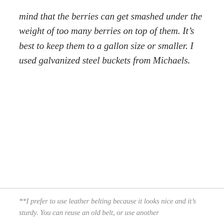mind that the berries can get smashed under the weight of too many berries on top of them. It's best to keep them to a gallon size or smaller. I used galvanized steel buckets from Michaels.
**I prefer to use leather belting because it looks nice and it's sturdy. You can reuse an old belt, or use another